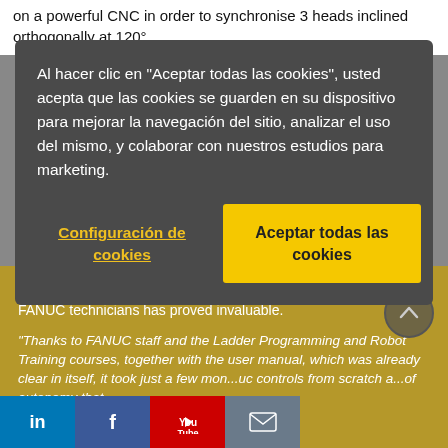on a powerful CNC in order to synchronise 3 heads inclined orthogonally at 120°
Al hacer clic en "Aceptar todas las cookies", usted acepta que las cookies se guarden en su dispositivo para mejorar la navegación del sitio, analizar el uso del mismo, y colaborar con nuestros estudios para marketing.
Configuración de cookies
Aceptar todas las cookies
As this is the first use of a FANUC control, the support provided by FANUC technicians has proved invaluable.
"Thanks to FANUC staff and the Ladder Programming and Robot Training courses, together with the user manual, which was already clear in itself, it took just a few mon...uc controls from scratch a...of autonomy that